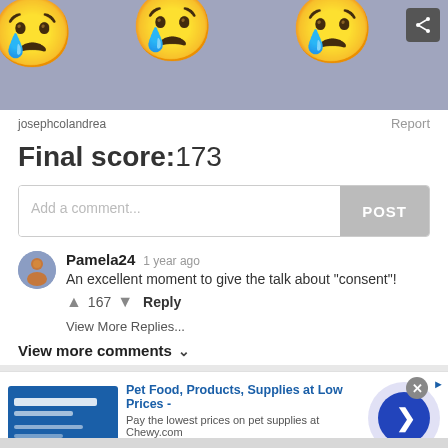[Figure (screenshot): Banner image with sad emoji faces on a grayish-blue background, with a share button in the top right corner]
josephcolandrea
Report
Final score:173
Add a comment...
POST
Pamela24   1 year ago
An excellent moment to give the talk about "consent"!
↑ 167 ↓ Reply
View More Replies...
View more comments ∨
[Figure (screenshot): Advertisement for Chewy.com: Pet Food, Products, Supplies at Low Prices - Pay the lowest prices on pet supplies at Chewy.com. chewy.com. With a blue product image on the left and a navigation arrow circle on the right.]